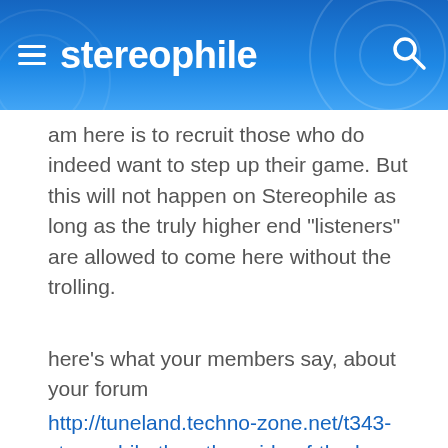[Figure (screenshot): Stereophile website header with hamburger menu icon on left, 'stereophile' logo text in white, and search icon on right, on a blue gradient background with decorative circular patterns]
am here is to recruit those who do indeed want to step up their game. But this will not happen on Stereophile as long as the truly higher end "listeners" are allowed to come here without the trolling.
here's what your members say, about your forum
http://tuneland.techno-zone.net/t343-stereophile-the-other-side-of-the-h...
I have got at least 50 emails